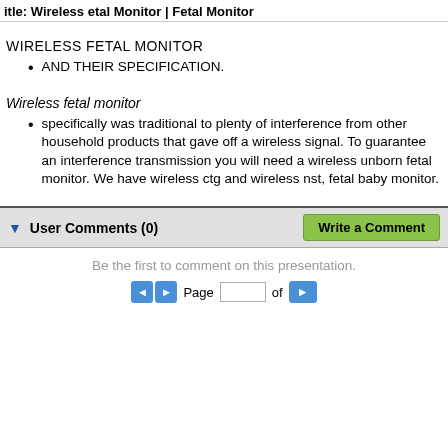itle: Wireless etal Monitor | Fetal Monitor
WIRELESS FETAL MONITOR
AND THEIR SPECIFICATION.
Wireless fetal monitor
specifically was traditional to plenty of interference from other household products that gave off a wireless signal. To guarantee an interference transmission you will need a wireless unborn fetal monitor. We have wireless ctg and wireless nst, fetal baby monitor.
User Comments (0)
Be the first to comment on this presentation.
Page  of